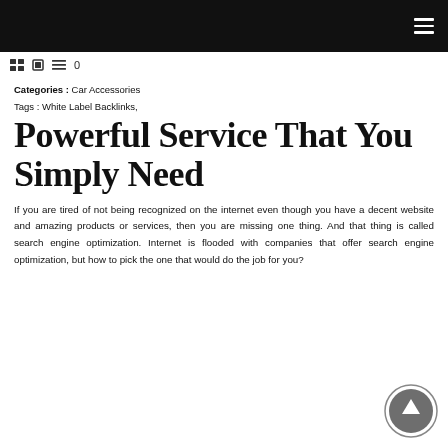Categories : Car Accessories
Tags : White Label Backlinks,
Powerful Service That You Simply Need
If you are tired of not being recognized on the internet even though you have a decent website and amazing products or services, then you are missing one thing. And that thing is called search engine optimization. Internet is flooded with companies that offer search engine optimization, but how to pick the one that would do the job for you?